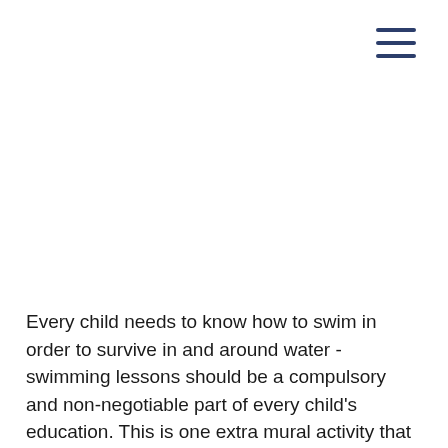[Figure (other): Menu/hamburger icon with three horizontal lines in dark navy blue, positioned in upper right corner]
Every child needs to know how to swim in order to survive in and around water - swimming lessons should be a compulsory and non-negotiable part of every child's education. This is one extra mural activity that is not an extravagance, but rather one of the best investments you will ever make. The latest statistics for drowning in